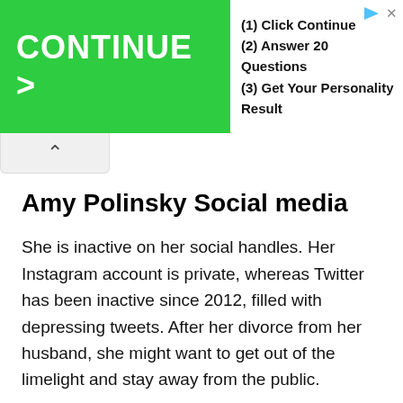[Figure (other): Advertisement banner with green CONTINUE > button and three steps: (1) Click Continue, (2) Answer 20 Questions, (3) Get Your Personality Result]
[Figure (other): Collapse/chevron-up tab UI element]
Amy Polinsky Social media
She is inactive on her social handles. Her Instagram account is private, whereas Twitter has been inactive since 2012, filled with depressing tweets. After her divorce from her husband, she might want to get out of the limelight and stay away from the public.